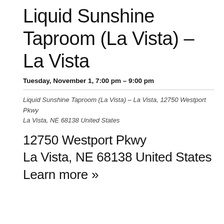Liquid Sunshine Taproom (La Vista) – La Vista
Tuesday, November 1, 7:00 pm – 9:00 pm
Liquid Sunshine Taproom (La Vista) – La Vista, 12750 Westport Pkwy
La Vista, NE 68138 United States
12750 Westport Pkwy
La Vista, NE 68138 United States
Learn more »